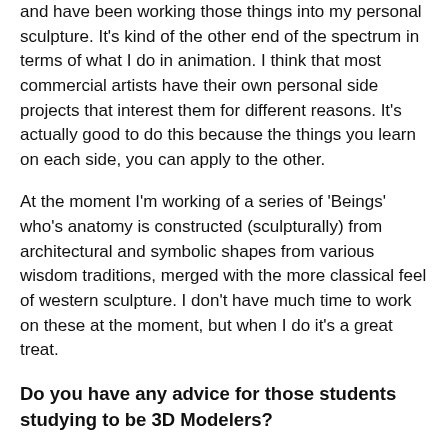and have been working those things into my personal sculpture. It's kind of the other end of the spectrum in terms of what I do in animation. I think that most commercial artists have their own personal side projects that interest them for different reasons. It's actually good to do this because the things you learn on each side, you can apply to the other.
At the moment I'm working of a series of 'Beings' who's anatomy is constructed (sculpturally) from architectural and symbolic shapes from various wisdom traditions, merged with the more classical feel of western sculpture. I don't have much time to work on these at the moment, but when I do it's a great treat.
Do you have any advice for those students studying to be 3D Modelers?
Practice a lot and make it fun for yourself. Look at the best work you can find in the industry and aim for that. Ask a lot of questions. Be very specific about what you want as an end goal. Study as much classical sculpture, anatomy and industry work as you can handle.